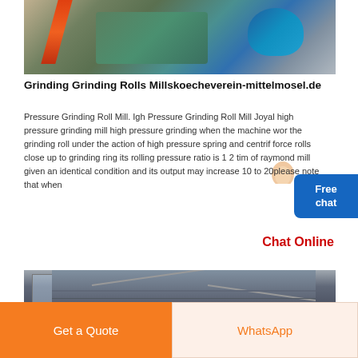[Figure (photo): Industrial grinding mill machinery with orange bar, green machine body, blue motor in a factory setting]
Grinding Grinding Rolls Millskoecheverein-mittelmosel.de
Pressure Grinding Roll Mill. Igh Pressure Grinding Roll Mill Joyal high pressure grinding mill high pressure grinding when the machine wor the grinding roll under the action of high pressure spring and centrif force rolls close up to grinding ring its rolling pressure ratio is 1 2 tim of raymond mill given an identical condition and its output may increase 10 to 20please note that when
Chat Online
[Figure (photo): Interior of industrial building showing roof structure and window]
Get a Quote
WhatsApp